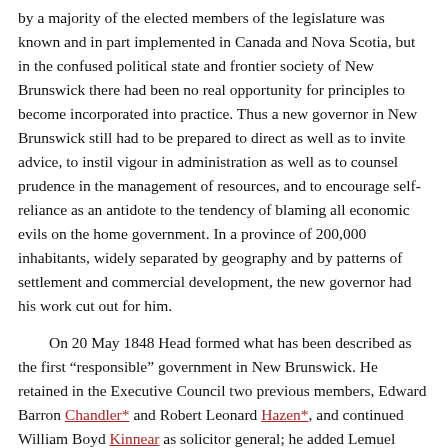by a majority of the elected members of the legislature was known and in part implemented in Canada and Nova Scotia, but in the confused political state and frontier society of New Brunswick there had been no real opportunity for principles to become incorporated into practice. Thus a new governor in New Brunswick still had to be prepared to direct as well as to invite advice, to instil vigour in administration as well as to counsel prudence in the management of resources, and to encourage self-reliance as an antidote to the tendency of blaming all economic evils on the home government. In a province of 200,000 inhabitants, widely separated by geography and by patterns of settlement and commercial development, the new governor had his work cut out for him.

On 20 May 1848 Head formed what has been described as the first “responsible” government in New Brunswick. He retained in the Executive Council two previous members, Edward Barron Chandler* and Robert Leonard Hazen*, and continued William Boyd Kinnear as solicitor general; he added Lemuel Allan